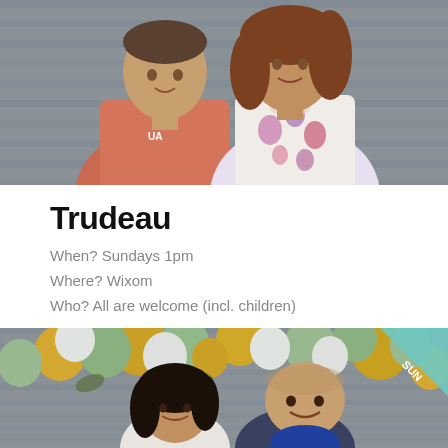[Figure (photo): Couple photo: man in coral/red polo shirt with Under Armour logo on left, woman in floral patterned top on right, posed together against a grey stone/brick wall background]
Trudeau
When? Sundays 1pm
Where? Wixom
Who? All are welcome (incl. children)
[Figure (photo): Couple photo with balloon arch decoration (gold, sage green, white balloons) in background against grey brick wall. Woman with dark hair on left, bald man on right smiling. 'SUN' badge in top right corner on teal/mint ribbon.]